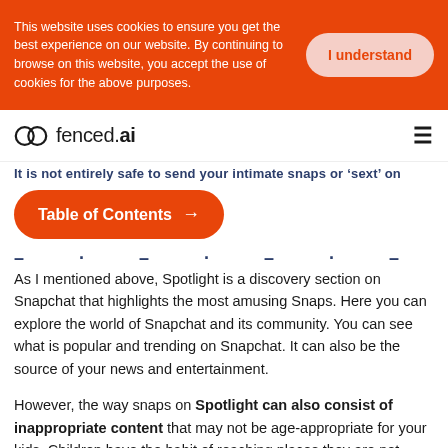This website uses cookies to ensure you get the best experience on our website. By continuing to browse on this website, you accept the use of cookies for the above purposes.
I understand
[Figure (logo): fenced.ai logo with interlinked circles icon and hamburger menu icon]
It is not entirely safe to send your intimate snaps or ‘sext’ on
Table of Contents →
- · - · -
As I mentioned above, Spotlight is a discovery section on Snapchat that highlights the most amusing Snaps. Here you can explore the world of Snapchat and its community. You can see what is popular and trending on Snapchat. It can also be the source of your news and entertainment.
However, the way snaps on Spotlight can also consist of inappropriate content that may not be age-appropriate for your kids. Children have the habit of reaching places they are not supposed to be. So unintentionally, they can discover explicit and inappropriate content on Spotlight.